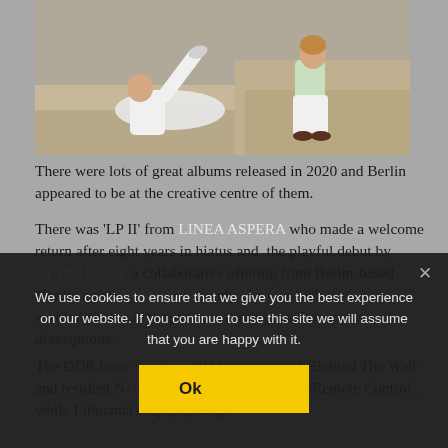[Figure (photo): Two people in white outfits posing on stone steps outdoors. One person on the left is lying/kicking up their leg wearing white athletic wear, the other on the right is sitting on a higher step wearing a light green top and white pants.]
There were lots of great albums released in 2020 and Berlin appeared to be at the creative centre of them.
There was 'LP II' from LINEA ASPERA who made a welcome return after eight years in hiatus and the playful debut by ULTRAFLEX, a collaborative offering from Berlin-based Nordic artists SPECIAL-K and FAFAQ which was... disguised as sports descriptions.
The DDR born [Jennifer...] told her story with 'Behind The Wall' and resident N... DISCOVERY ZONE was on 'Remote Control', while Lithuania's top pop singer
We use cookies to ensure that we give you the best experience on our website. If you continue to use this site we will assume that you are happy with it.